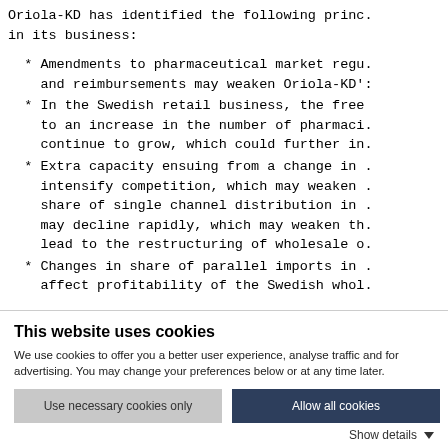Oriola-KD has identified the following princ. in its business:
* Amendments to pharmaceutical market regu. and reimbursements may weaken Oriola-KD':
* In the Swedish retail business, the free to an increase in the number of pharmaci. continue to grow, which could further in.
* Extra capacity ensuing from a change in . intensify competition, which may weaken . share of single channel distribution in . may decline rapidly, which may weaken th. lead to the restructuring of wholesale o.
* Changes in share of parallel imports in . affect profitability of the Swedish whol.
This website uses cookies
We use cookies to offer you a better user experience, analyse traffic and for advertising. You may change your preferences below or at any time later.
Use necessary cookies only   Allow all cookies   Show details